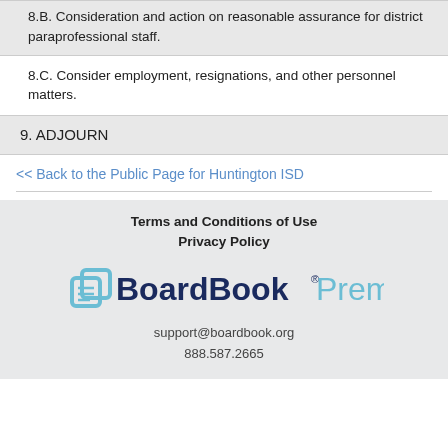8.B. Consideration and action on reasonable assurance for district paraprofessional staff.
8.C. Consider employment, resignations, and other personnel matters.
9. ADJOURN
<< Back to the Public Page for Huntington ISD
Terms and Conditions of Use
Privacy Policy
[Figure (logo): BoardBook Premier logo with icon]
support@boardbook.org
888.587.2665